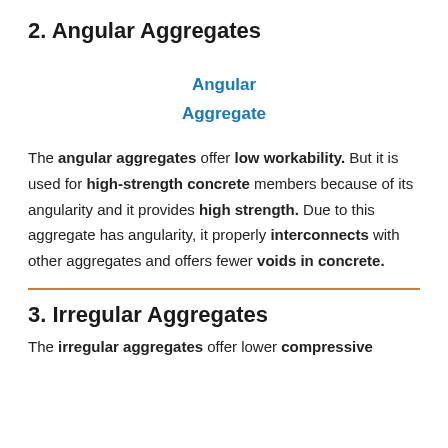2. Angular Aggregates
[Figure (other): Label showing 'Angular Aggregate' in blue bold text centered on the page]
The angular aggregates offer low workability. But it is used for high-strength concrete members because of its angularity and it provides high strength. Due to this aggregate has angularity, it properly interconnects with other aggregates and offers fewer voids in concrete.
3. Irregular Aggregates
The irregular aggregates offer lower compressive